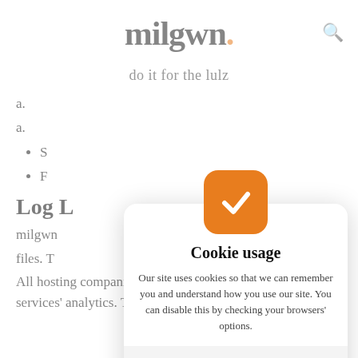milgwn.
do it for the lulz
a.
a.
S
F
Log L
milgwn
files. T                                                                         s.
All hosting companies do this and a part of hosting services' analytics. The information collected by log
[Figure (screenshot): Cookie usage modal dialog with orange checkbox icon, cookie usage text, privacy policy links, and I Agree button]
Cookie usage
Our site uses cookies so that we can remember you and understand how you use our site. You can disable this by checking your browsers' options.
Please read our Privacy & Cookie and Terms and Conditions policies.
I Agree